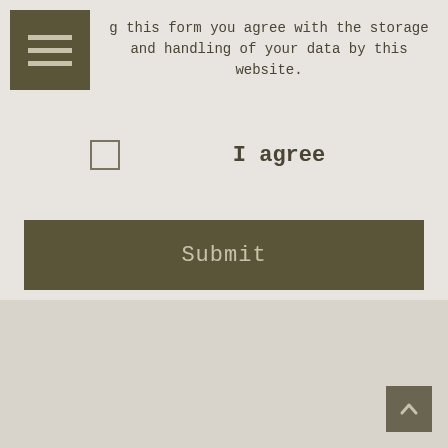g this form you agree with the storage and handling of your data by this website.
I agree
Submit
[Figure (other): Large opening quotation marks decorative element]
Thank you, from the bottom of my heart, for the most